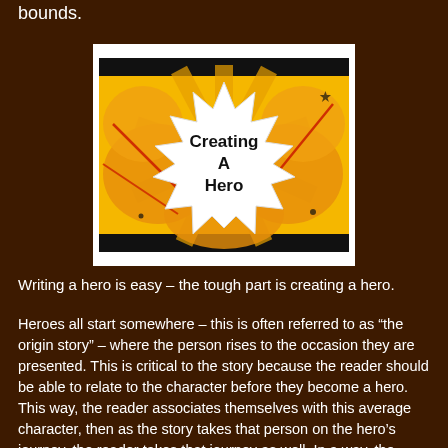bounds.
[Figure (illustration): Comic-style pop art image with yellow sunburst background and halftone dots, featuring a white starburst/explosion shape in the center with the text 'Creating A Hero' in bold black letters. Black bars at top and bottom. Red line accents and orange/amber gradient clouds around the burst.]
Writing a hero is easy – the tough part is creating a hero.
Heroes all start somewhere – this is often referred to as “the origin story” – where the person rises to the occasion they are presented. This is critical to the story because the reader should be able to relate to the character before they become a hero. This way, the reader associates themselves with this average character, then as the story takes that person on the hero’s journey, the reader takes that journey as well. In a way, the reader feels as if they are able to grow in much the